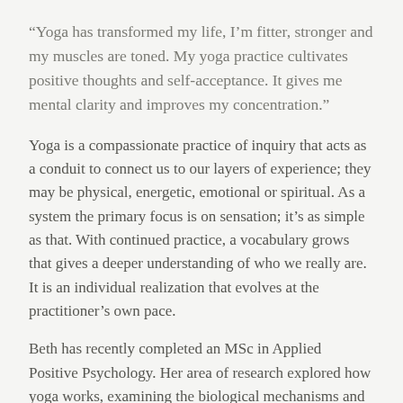“Yoga has transformed my life, I’m fitter, stronger and my muscles are toned. My yoga practice cultivates positive thoughts and self-acceptance. It gives me mental clarity and improves my concentration.”
Yoga is a compassionate practice of inquiry that acts as a conduit to connect us to our layers of experience; they may be physical, energetic, emotional or spiritual. As a system the primary focus is on sensation; it’s as simple as that. With continued practice, a vocabulary grows that gives a deeper understanding of who we really are. It is an individual realization that evolves at the practitioner’s own pace.
Beth has recently completed an MSc in Applied Positive Psychology. Her area of research explored how yoga works, examining the biological mechanisms and physical practices that increase and sustain well-being.